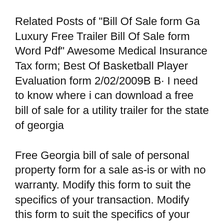Related Posts of "Bill Of Sale form Ga Luxury Free Trailer Bill Of Sale form Word Pdf" Awesome Medical Insurance Tax form; Best Of Basketball Player Evaluation form 2/02/2009B B· I need to know where i can download a free bill of sale for a utility trailer for the state of georgia
Free Georgia bill of sale of personal property form for a sale as-is or with no warranty. Modify this form to suit the specifics of your transaction. Modify this form to suit the specifics of your transaction. trailer bill of sale form oklahoma free texas massachusetts motor trailer bill of sale data to be...